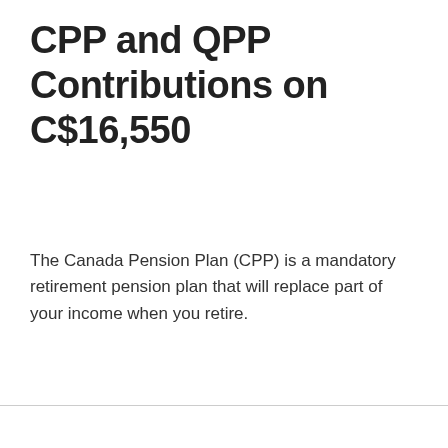CPP and QPP Contributions on C$16,550
The Canada Pension Plan (CPP) is a mandatory retirement pension plan that will replace part of your income when you retire.